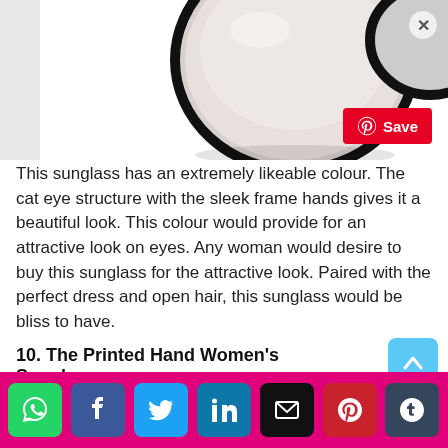[Figure (photo): Partial view of round cat-eye sunglasses with black frame on white background, with a Pinterest Save button overlay and a close (X) button.]
This sunglass has an extremely likeable colour. The cat eye structure with the sleek frame hands gives it a beautiful look. This colour would provide for an attractive look on eyes. Any woman would desire to buy this sunglass for the attractive look. Paired with the perfect dress and open hair, this sunglass would be bliss to have.
10. The Printed Hand Women's Sunglasses:
[Figure (infographic): Social media share bar with icons: WhatsApp (green), Facebook (dark blue), Twitter (light blue), LinkedIn (teal), Email (black), Pinterest (red), Tumblr (dark slate).]